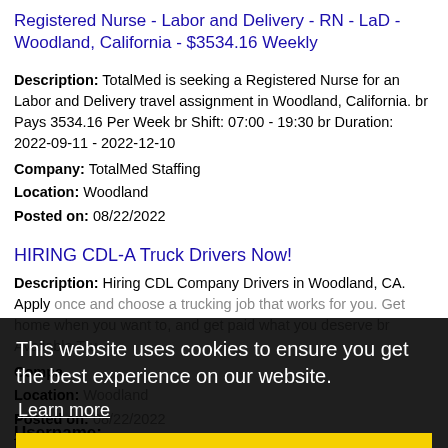Registered Nurse - Labor and Delivery - RN - LaD - Woodland, California - $3534.16 Weekly
Description: TotalMed is seeking a Registered Nurse for an Labor and Delivery travel assignment in Woodland, California. br Pays 3534.16 Per Week br Shift: 07:00 - 19:30 br Duration: 2022-09-11 - 2022-12-10
Company: TotalMed Staffing
Location: Woodland
Posted on: 08/22/2022
HIRING CDL-A Truck Drivers Now!
Description: Hiring CDL Company Drivers in Woodland, CA. Apply once and choose a trucking job that works for you. Get home when you want to, and get paid what you deserve br Available Tru...
Company: ...
Location: Woodland
Posted on: 08/22/2022
Loading more jobs...
This website uses cookies to ensure you get the best experience on our website.
Learn more
Got it!
Log In or Create An Account
Username: